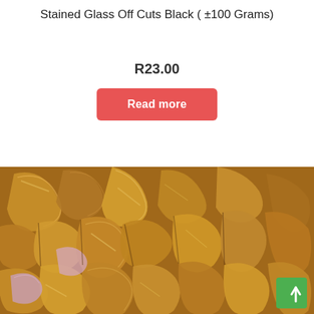Stained Glass Off Cuts Black ( ±100 Grams)
R23.00
Read more
[Figure (photo): Close-up photo of stained glass off cuts showing amber/golden and pink curved glass shards piled together]